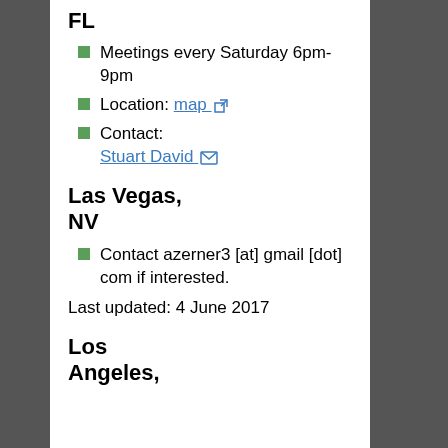FL
Meetings every Saturday 6pm-9pm
Location: map
Contact: Stuart David
Las Vegas, NV
Contact azerner3 [at] gmail [dot] com if interested.
Last updated: 4 June 2017
Los Angeles,